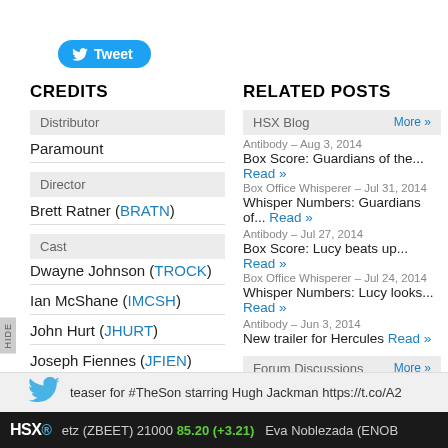[Figure (other): Twitter Tweet button with bird icon]
CREDITS
Distributor
Paramount
Director
Brett Ratner (BRATN)
Cast
Dwayne Johnson (TROCK)
Ian McShane (IMCSH)
John Hurt (JHURT)
Joseph Fiennes (JFIEN)
Rebecca Ferguson (RFERG)
RELATED POSTS
HSX Blog | More »
Antibody – Aug 3, 2014
Box Score: Guardians of the... Read »
Box Office Whisperer – Jul 31, 2014
Whisper Numbers: Guardians of... Read »
Antibody – Jul 27, 2014
Box Score: Lucy beats up... Read »
Box Office Whisperer – Jul 24, 2014
Whisper Numbers: Lucy looks... Read »
Antibody – Jun 3, 2014
New trailer for Hercules Read »
Forum Discussions | More »
teaser for #TheSon starring Hugh Jackman https://t.co/A2
HSX® etz (ZBEET) 21000 85.20 (+3.21) Eva Noblezada (ENOB